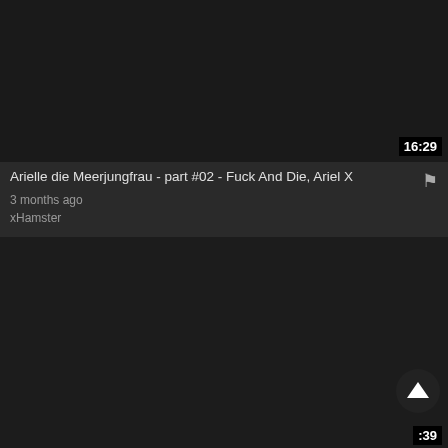[Figure (screenshot): Dark video thumbnail with duration badge 16:29 in bottom right corner]
Arielle die Meerjungfrau - part #02 - Fuck And Die, Ariel X
3 months ago
xHamster
[Figure (screenshot): Dark video thumbnail with partial duration badge showing :39 in bottom right corner and scroll-up arrow button overlay]
Meine versaute Willingsschwester - part #06 - (Original in - Kelly Trump, Di...
3 months ago
xHamster